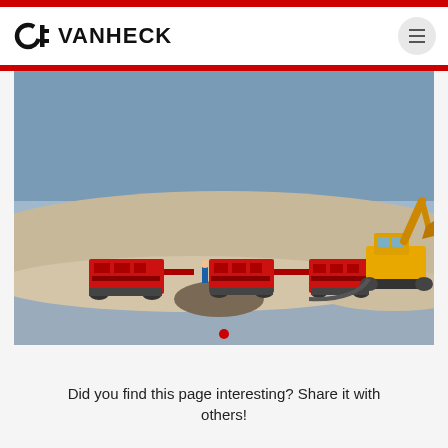DE VANHECK
[Figure (photo): Construction site photo showing red pumping/dredging equipment and an excavator on a sandy terrain with a blue-grey sky background. Workers visible near the red machinery.]
Did you find this page interesting? Share it with others!